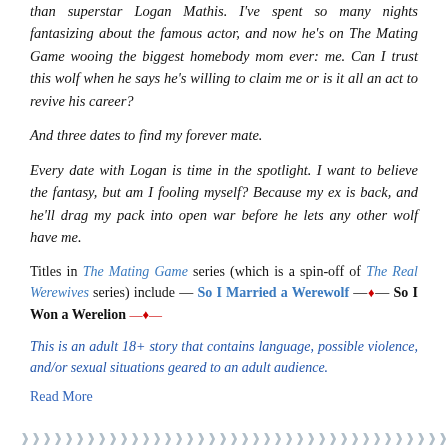than superstar Logan Mathis. I've spent so many nights fantasizing about the famous actor, and now he's on The Mating Game wooing the biggest homebody mom ever: me. Can I trust this wolf when he says he's willing to claim me or is it all an act to revive his career?
And three dates to find my forever mate.
Every date with Logan is time in the spotlight. I want to believe the fantasy, but am I fooling myself? Because my ex is back, and he'll drag my pack into open war before he lets any other wolf have me.
Titles in The Mating Game series (which is a spin-off of The Real Werewives series) include — So I Married a Werewolf —♦— So I Won a Werelion —♦—
This is an adult 18+ story that contains language, possible violence, and/or sexual situations geared to an adult audience.
Read More
❯❯❯❯❯❯❯❯❯❯❯❯❯❯❯❯❯❯❯❯❯❯❯❯❯❯❯❯❯❯❯❯❯❯❯❯❯❯❯